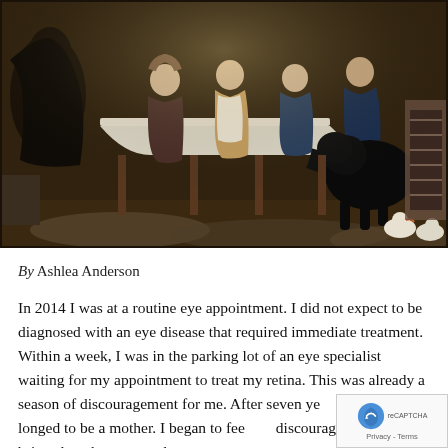[Figure (illustration): A classical oil painting depicting a group of children with a large black dog and chickens in a rustic interior setting, gathered around a table]
By Ashlea Anderson
In 2014 I was at a routine eye appointment. I did not expect to be diagnosed with an eye disease that required immediate treatment. Within a week, I was in the parking lot of an eye specialist waiting for my appointment to treat my retina. This was already a season of discouragement for me. After seven ye... marriage, I longed to be a mother. I began to fee... discouragement that brings hopelessness and t...